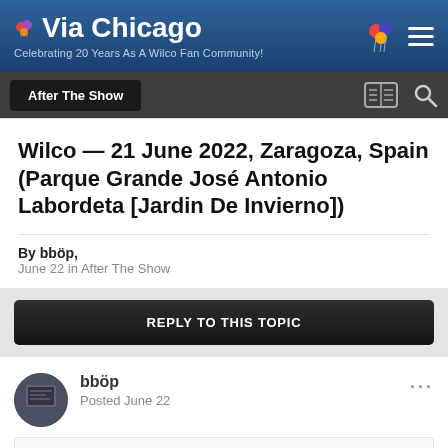Via Chicago — Celebrating 20 Years As A Wilco Fan Community!
After The Show
Wilco — 21 June 2022, Zaragoza, Spain (Parque Grande José Antonio Labordeta [Jardin De Invierno])
By bböp,
June 22 in After The Show
REPLY TO THIS TOPIC
bböp
Posted June 22